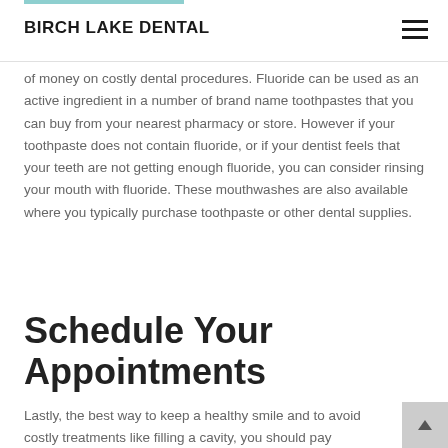BIRCH LAKE DENTAL
of money on costly dental procedures. Fluoride can be used as an active ingredient in a number of brand name toothpastes that you can buy from your nearest pharmacy or store. However if your toothpaste does not contain fluoride, or if your dentist feels that your teeth are not getting enough fluoride, you can consider rinsing your mouth with fluoride. These mouthwashes are also available where you typically purchase toothpaste or other dental supplies.
Schedule Your Appointments
Lastly, the best way to keep a healthy smile and to avoid costly treatments like filling a cavity, you should pay